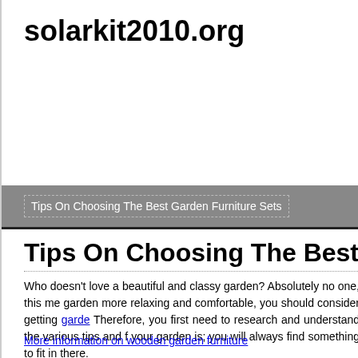solarkit2010.org
Tips On Choosing The Best Garden Furniture Sets
Tips On Choosing The Best Garden
Who doesn't love a beautiful and classy garden? Absolutely no one, this me garden more relaxing and comfortable, you should consider getting garde Therefore, you first need to research and understand the various tips and f your garden is; you will always find something to fit in there.
More information on wooden garden furniture